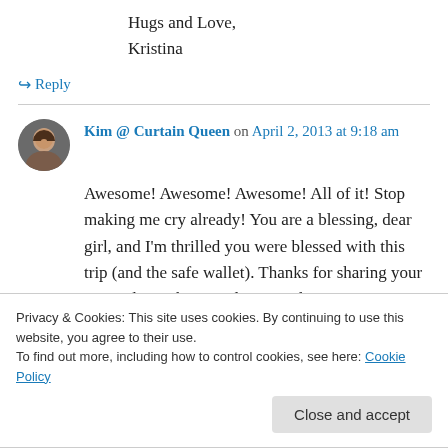Hugs and Love,
Kristina
↪ Reply
Kim @ Curtain Queen on April 2, 2013 at 9:18 am
Awesome! Awesome! Awesome! All of it! Stop making me cry already! You are a blessing, dear girl, and I'm thrilled you were blessed with this trip (and the safe wallet). Thanks for sharing your trip and your heart and our Lord's
Privacy & Cookies: This site uses cookies. By continuing to use this website, you agree to their use.
To find out more, including how to control cookies, see here: Cookie Policy
Close and accept